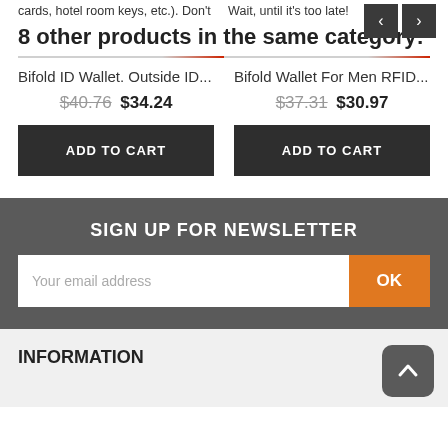cards, hotel room keys, etc.). Don't Wait, until it's too late!
8 other products in the same category:
Bifold ID Wallet. Outside ID...
$40.76 $34.24
Bifold Wallet For Men RFID...
$37.31 $30.97
ADD TO CART
ADD TO CART
SIGN UP FOR NEWSLETTER
Your email address
OK
INFORMATION